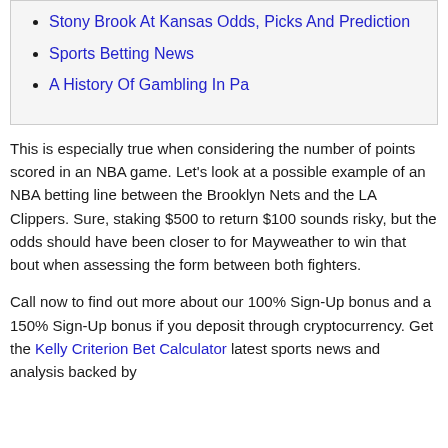Stony Brook At Kansas Odds, Picks And Prediction
Sports Betting News
A History Of Gambling In Pa
This is especially true when considering the number of points scored in an NBA game. Let's look at a possible example of an NBA betting line between the Brooklyn Nets and the LA Clippers. Sure, staking $500 to return $100 sounds risky, but the odds should have been closer to for Mayweather to win that bout when assessing the form between both fighters.
Call now to find out more about our 100% Sign-Up bonus and a 150% Sign-Up bonus if you deposit through cryptocurrency. Get the Kelly Criterion Bet Calculator latest sports news and analysis backed by